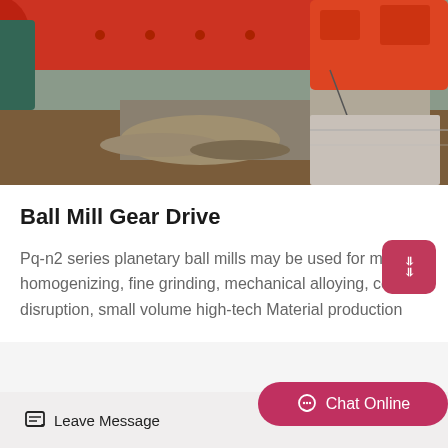[Figure (photo): Industrial photo showing large red ball mill machinery installed outdoors on a construction site with gravel ground, concrete foundations, and excavated earth visible. Orange/red cylindrical drum and red mechanical components.]
Ball Mill Gear Drive
Pq-n2 series planetary ball mills may be used for mixing, homogenizing, fine grinding, mechanical alloying, cell disruption, small volume high-tech Material production
Leave Message | Chat Online